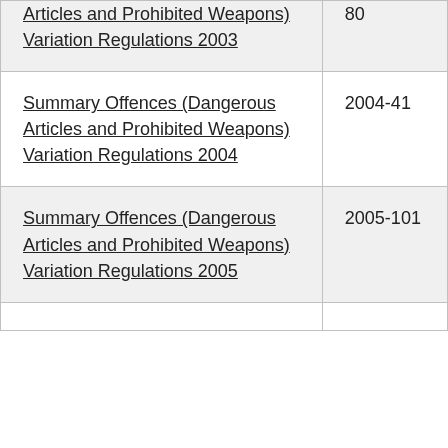| Instrument | Number |
| --- | --- |
| Articles and Prohibited Weapons) Variation Regulations 2003 | 80 |
| Summary Offences (Dangerous Articles and Prohibited Weapons) Variation Regulations 2004 | 2004-41 |
| Summary Offences (Dangerous Articles and Prohibited Weapons) Variation Regulations 2005 | 2005-101 |
|  |  |